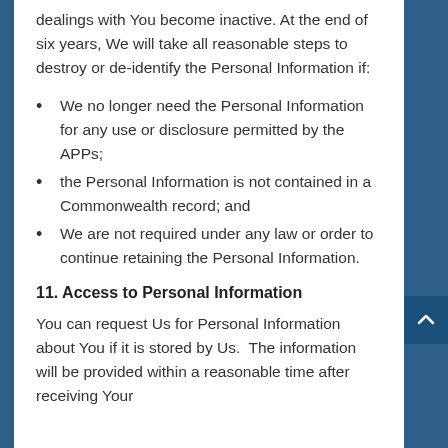dealings with You become inactive. At the end of six years, We will take all reasonable steps to destroy or de-identify the Personal Information if:
We no longer need the Personal Information for any use or disclosure permitted by the APPs;
the Personal Information is not contained in a Commonwealth record; and
We are not required under any law or order to continue retaining the Personal Information.
11. Access to Personal Information
You can request Us for Personal Information about You if it is stored by Us.  The information will be provided within a reasonable time after receiving Your